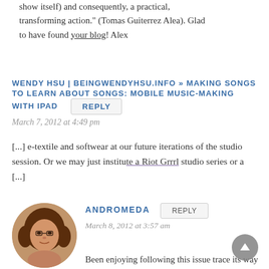show itself) and consequently, a practical, transforming action." (Tomas Guiterrez Alea). Glad to have found your blog! Alex
WENDY HSU | BEINGWENDYHSU.INFO » MAKING SONGS TO LEARN ABOUT SONGS: MOBILE MUSIC-MAKING WITH IPAD
March 7, 2012 at 4:49 pm
[...] e-textile and softwear at our future iterations of the studio session. Or we may just institute a Riot Grrrl studio series or a [...]
[Figure (photo): Circular avatar photo of Andromeda, a person with curly hair and glasses]
ANDROMEDA
March 8, 2012 at 3:57 am
Been enjoying following this issue trace its way across the blogosphere, like the DIY/historical perspective, but have to stick up for my alma mater here — I'm Mudd class of '99, meaning I was there when gender parity was not yet on the horizon (my class was 27% female), and the experiences you describe were not my experience of Mudd. I'm in no way saying they aren't important or didn't happen; I just don't want people to come away